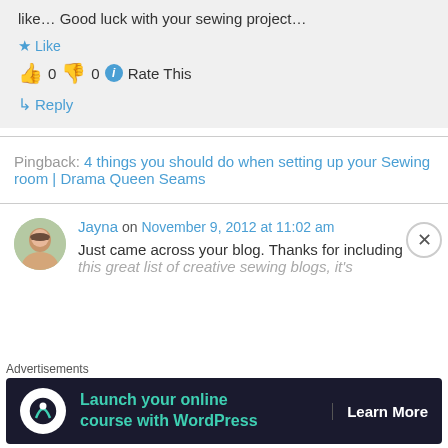like… Good luck with your sewing project…
★ Like
👍 0 👎 0 ℹ Rate This
↳ Reply
Pingback: 4 things you should do when setting up your Sewing room | Drama Queen Seams
Jayna on November 9, 2012 at 11:02 am
Just came across your blog. Thanks for including this great list of creative sewing blogs, it's
Advertisements
[Figure (infographic): Advertisement banner: Launch your online course with WordPress — Learn More]